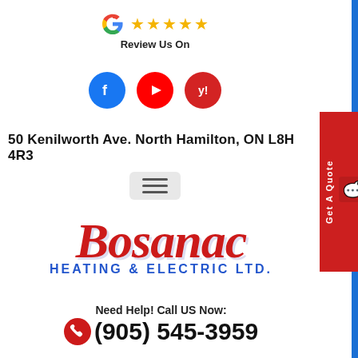[Figure (logo): Google logo G icon with 5 gold stars and 'Review Us On' text below]
[Figure (logo): Social media icons: Facebook (blue circle with f), YouTube (red circle with play button), Yelp (red circle with yelp icon)]
50 Kenilworth Ave. North Hamilton, ON L8H 4R3
[Figure (other): Hamburger menu button (three horizontal lines) on light gray background]
[Figure (logo): Bosanac Heating & Electric Ltd. company logo - Bosanac in large red italic script, HEATING & ELECTRIC LTD. in blue bold capitals below]
Need Help! Call US Now:
(905) 545-3959